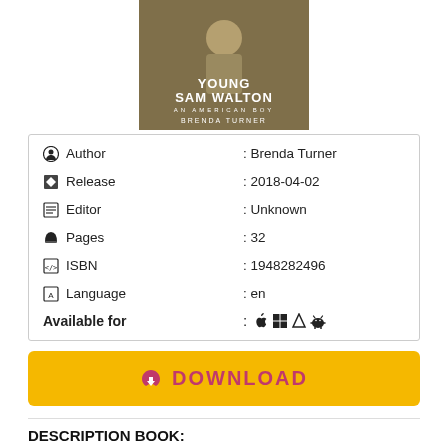[Figure (illustration): Book cover for 'Young Sam Walton: An American Boy' by Brenda Turner, showing a young person in military-style clothing with the title and author name in white text on a brown/khaki background.]
| Author | : Brenda Turner |
| Release | : 2018-04-02 |
| Editor | : Unknown |
| Pages | : 32 |
| ISBN | : 1948282496 |
| Language | : en |
| Available for | : 🍎 ⊞ 🐧 🤖 |
DOWNLOAD
DESCRIPTION BOOK: